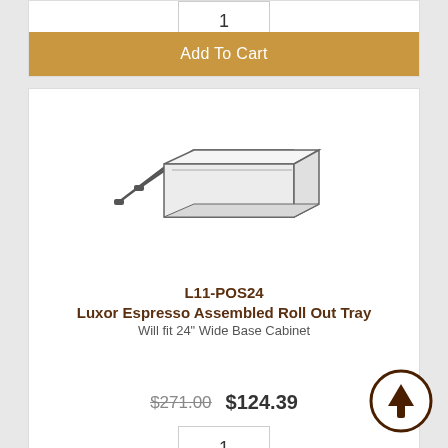1
Add To Cart
[Figure (illustration): Line drawing of a roll-out drawer tray with side-mount slides extended]
L11-POS24
Luxor Espresso Assembled Roll Out Tray
Will fit 24" Wide Base Cabinet
$271.00  $124.39
1
Add To Cart
[Figure (illustration): Partial line drawing of another roll-out tray product at bottom of page]